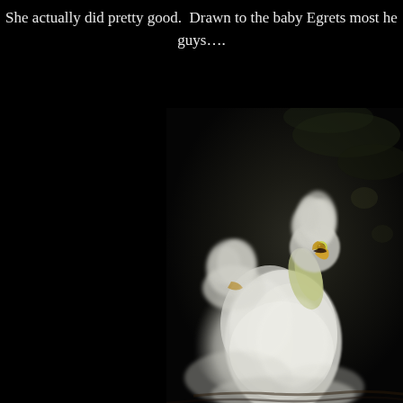She actually did pretty good.  Drawn to the baby Egrets most he guys….
[Figure (photo): Two fluffy white baby Egret chicks with yellow-green beaks and wild downy feathers on their heads, photographed against a very dark background. One chick is looking upward with its beak open. The birds are white and soft-looking with spiky head feathers.]